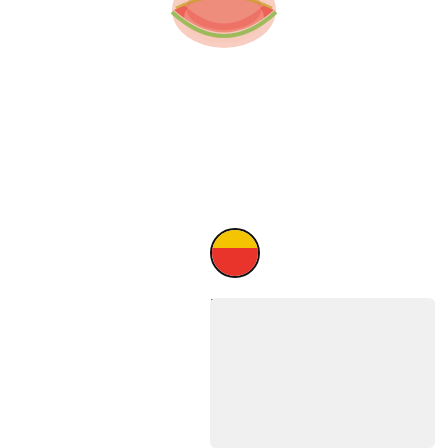[Figure (photo): Partial view of Bullet Rainbow Sun Ray Sunglasses product image, cropped at the top of the page showing the top portion of sunglasses with red/pink and gold tones]
[Figure (illustration): Circular color swatch showing a sunset palette: yellow top half and red bottom half, with a thick black circular border]
Bullet Rainbow Sun Ray Sunglasses
$3.60 — $11.80
Minimum quantity 75
[Figure (photo): Next product card placeholder - light grey rectangle, partially visible at the bottom of the page]